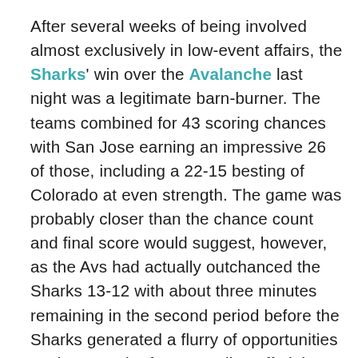After several weeks of being involved almost exclusively in low-event affairs, the Sharks' win over the Avalanche last night was a legitimate barn-burner. The teams combined for 43 scoring chances with San Jose earning an impressive 26 of those, including a 22-15 besting of Colorado at even strength. The game was probably closer than the chance count and final score would suggest, however, as the Avs had actually outchanced the Sharks 13-12 with about three minutes remaining in the second period before the Sharks generated a flurry of opportunities to close out the frame, rattling off eight consecutive scoring chances in a span of about 160 seconds with the Logan Couture line inflicting much of the damage.